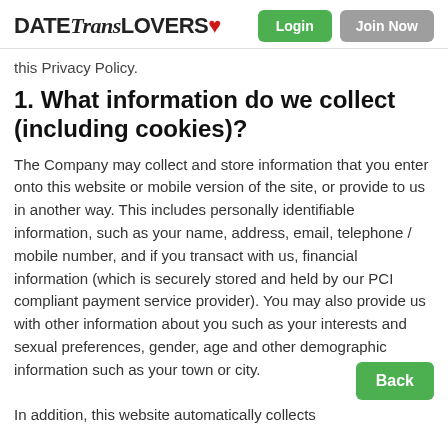DATETransLOVERS [heart icon] | Login | Join Now
this Privacy Policy.
1. What information do we collect (including cookies)?
The Company may collect and store information that you enter onto this website or mobile version of the site, or provide to us in another way. This includes personally identifiable information, such as your name, address, email, telephone / mobile number, and if you transact with us, financial information (which is securely stored and held by our PCI compliant payment service provider). You may also provide us with other information about you such as your interests and sexual preferences, gender, age and other demographic information such as your town or city.
In addition, this website automatically collects